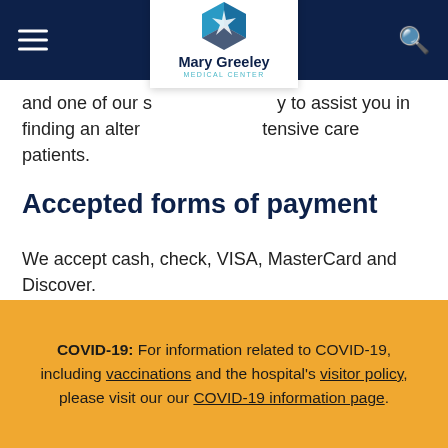Mary Greeley Medical Center
and one of our staff will be happy to assist you in finding an alternative gift for intensive care patients.
Accepted forms of payment
We accept cash, check, VISA, MasterCard and Discover.
Support
COVID-19: For information related to COVID-19, including vaccinations and the hospital's visitor policy, please visit our our COVID-19 information page.